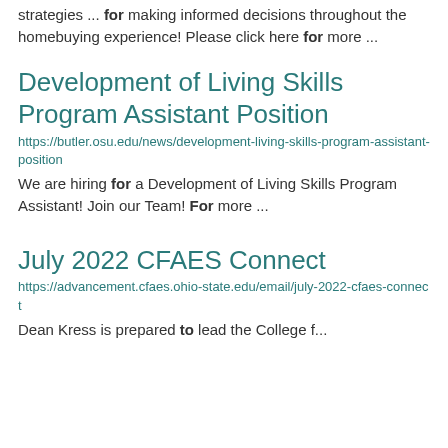strategies ... for making informed decisions throughout the homebuying experience! Please click here for more ...
Development of Living Skills Program Assistant Position
https://butler.osu.edu/news/development-living-skills-program-assistant-position
We are hiring for a Development of Living Skills Program Assistant! Join our Team! For more ...
July 2022 CFAES Connect
https://advancement.cfaes.ohio-state.edu/email/july-2022-cfaes-connect
Dean Kress is prepared to lead the College fo...